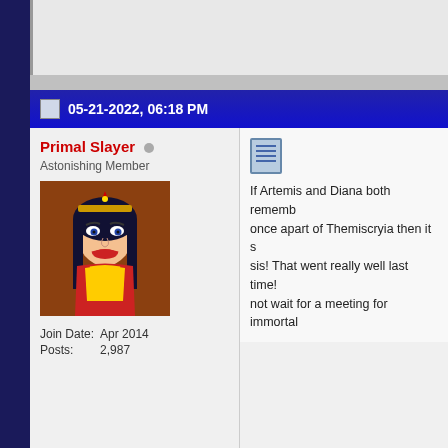05-21-2022, 06:18 PM
Primal Slayer
Astonishing Member
[Figure (illustration): Animated avatar of Wonder Woman character with tiara and red costume]
| Join Date: | Apr 2014 |
| Posts: | 2,987 |
If Artemis and Diana both rememb... once apart of Themiscryia then it s... sis! That went really well last time!... not wait for a meeting for immortal...
05-21-2022, 06:20 PM
wonder39
Incredible Member
[Figure (photo): Photo avatar of a woman dressed as Wonder Woman]
Originally Posted by Larg...
How do the characters live...